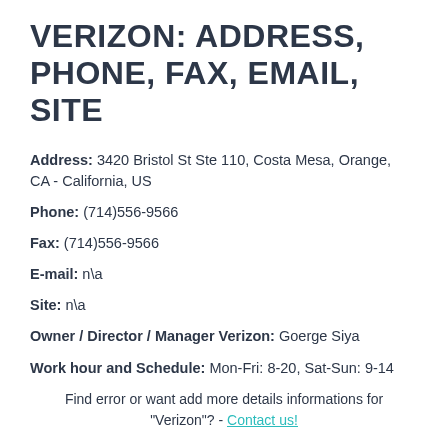VERIZON: ADDRESS, PHONE, FAX, EMAIL, SITE
Address: 3420 Bristol St Ste 110, Costa Mesa, Orange, CA - California, US
Phone: (714)556-9566
Fax: (714)556-9566
E-mail: n\a
Site: n\a
Owner / Director / Manager Verizon: Goerge Siya
Work hour and Schedule: Mon-Fri: 8-20, Sat-Sun: 9-14
Find error or want add more details informations for "Verizon"? - Contact us!